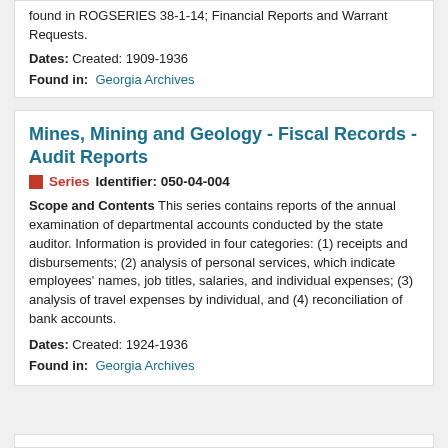found in ROGSERIES 38-1-14; Financial Reports and Warrant Requests.
Dates: Created: 1909-1936
Found in: Georgia Archives
Mines, Mining and Geology - Fiscal Records - Audit Reports
Series   Identifier: 050-04-004
Scope and Contents This series contains reports of the annual examination of departmental accounts conducted by the state auditor. Information is provided in four categories: (1) receipts and disbursements; (2) analysis of personal services, which indicate employees' names, job titles, salaries, and individual expenses; (3) analysis of travel expenses by individual, and (4) reconciliation of bank accounts.
Dates: Created: 1924-1936
Found in: Georgia Archives